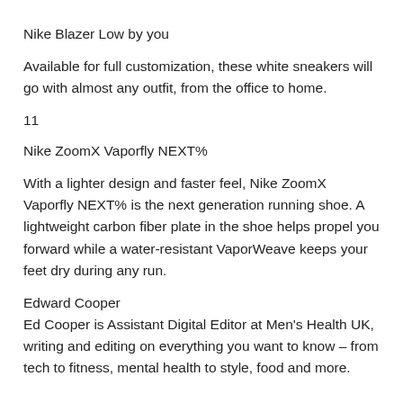Nike Blazer Low by you
Available for full customization, these white sneakers will go with almost any outfit, from the office to home.
11
Nike ZoomX Vaporfly NEXT%
With a lighter design and faster feel, Nike ZoomX Vaporfly NEXT% is the next generation running shoe. A lightweight carbon fiber plate in the shoe helps propel you forward while a water-resistant VaporWeave keeps your feet dry during any run.
Edward Cooper
Ed Cooper is Assistant Digital Editor at Men's Health UK, writing and editing on everything you want to know – from tech to fitness, mental health to style, food and more.